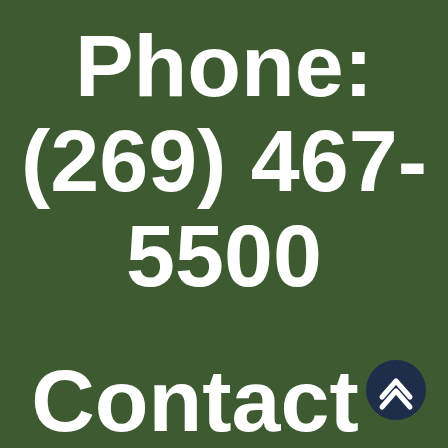Phone: (269) 467-5500
Contact
[Figure (illustration): Dark navy blue circular button with upward-pointing chevron/caret arrow icon, used as a scroll-to-top button]